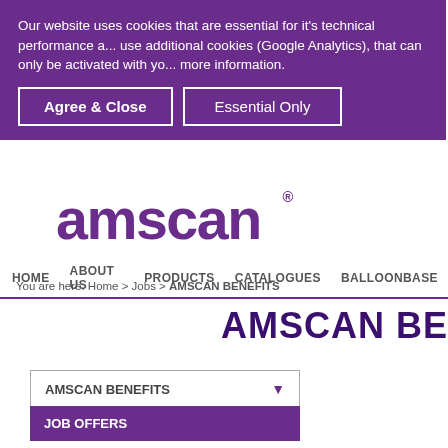Our website uses cookies that are essential for it's technical performance and we use additional cookies (Google Analytics), that can only be activated with your consent. more information.
Agree & Close | Essential Only
[Figure (logo): Amscan logo in purple with registered trademark symbol]
HOME   ABOUT US   PRODUCTS   CATALOGUES   BALLOONBASE
You are here: Home > Jobs > AMSCAN BENEFITS
AMSCAN BENEFITS
AMSCAN BENEFITS
JOB OFFERS